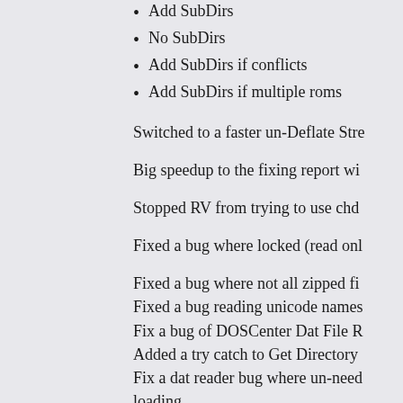Add SubDirs
No SubDirs
Add SubDirs if conflicts
Add SubDirs if multiple roms
Switched to a faster un-Deflate Stre
Big speedup to the fixing report wi
Stopped RV from trying to use chd
Fixed a bug where locked (read onl
Fixed a bug where not all zipped fi
Fixed a bug reading unicode names
Fix a bug of DOSCenter Dat File R
Added a try catch to Get Directory
Fix a dat reader bug where un-need
loading.
There is also a matching Trrntzip.n
Command line versions will also fo
And as always if you enjoy these u